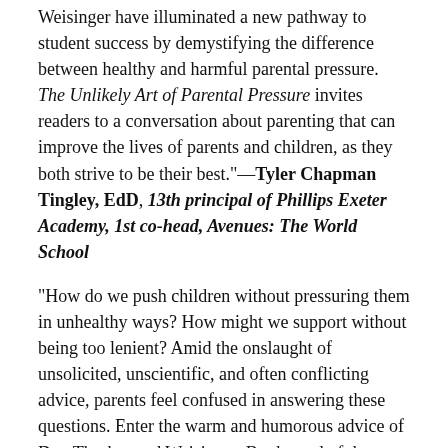Weisinger have illuminated a new pathway to student success by demystifying the difference between healthy and harmful parental pressure. The Unlikely Art of Parental Pressure invites readers to a conversation about parenting that can improve the lives of parents and children, as they both strive to be their best."—Tyler Chapman Tingley, EdD, 13th principal of Phillips Exeter Academy, 1st co-head, Avenues: The World School
"How do we push children without pressuring them in unhealthy ways? How might we support without being too lenient? Amid the onslaught of unsolicited, unscientific, and often conflicting advice, parents feel confused in answering these questions. Enter the warm and humorous advice of Drs. Thurber and Weisinger. By the end of the book, you'll have absorbed the parental trifecta: compassion, clarity, and scientifically-backed guidance to transform unhealthy pressure into wise parenting."—Yael Schonbrun, PhD, Assistant Professor Brown University and cohost of the Psychologists Off the Clock Podcast
"An empowering guide to helping children succeed."—